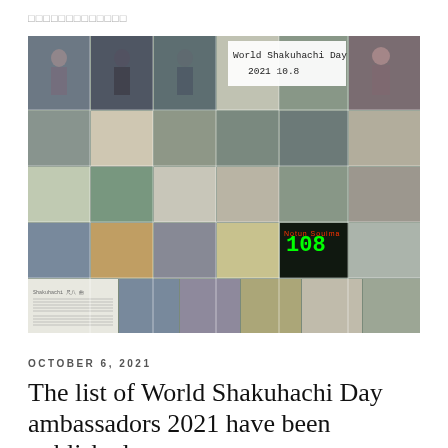□□□□□□□□□□□□□
[Figure (photo): A photo collage of many people playing shakuhachi (Japanese bamboo flutes) from various locations around the world. A text overlay reads 'World Shakuhachi Day 2021 10.8'. The images show participants indoors and outdoors, in various settings.]
OCTOBER 6, 2021
The list of World Shakuhachi Day ambassadors 2021 have been published